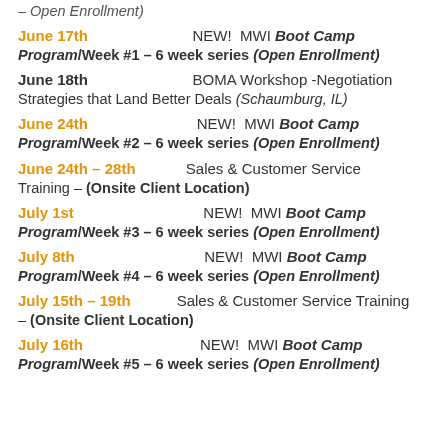– Open Enrollment)
June 17th  NEW!  MWI Boot Camp Program/Week #1 – 6 week series (Open Enrollment)
June 18th  BOMA Workshop -Negotiation Strategies that Land Better Deals (Schaumburg, IL)
June 24th  NEW!  MWI Boot Camp Program/Week #2 – 6 week series (Open Enrollment)
June 24th – 28th  Sales & Customer Service Training – (Onsite Client Location)
July 1st  NEW!  MWI Boot Camp Program/Week #3 – 6 week series (Open Enrollment)
July 8th  NEW!  MWI Boot Camp Program/Week #4 – 6 week series (Open Enrollment)
July 15th – 19th  Sales & Customer Service Training – (Onsite Client Location)
July 16th  NEW!  MWI Boot Camp Program/Week #5 – 6 week series (Open Enrollment)